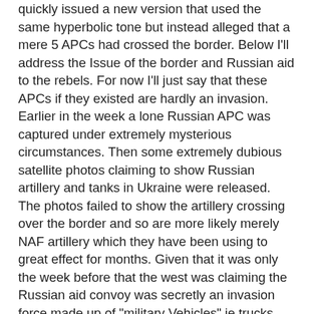quickly issued a new version that used the same hyperbolic tone but instead alleged that a mere 5 APCs had crossed the border. Below I'll address the Issue of the border and Russian aid to the rebels. For now I'll just say that these APCs if they existed are hardly an invasion. Earlier in the week a lone Russian APC was captured under extremely mysterious circumstances. Then some extremely dubious satellite photos claiming to show Russian artillery and tanks in Ukraine were released. The photos failed to show the artillery crossing over the border and so are more likely merely NAF artillery which they have been using to great effect for months. Given that it was only the week before that the west was claiming the Russian aid convoy was secretly an invasion force made up of "military Vehicles" ie trucks Western credibility is at an all time low. The convoy returned to Russia without incident. Russia is already preparing another Aid convoy. Apparently none of them have heard the tale of the boy who cried wolf. Embarrassingly the OSCE observers refused to corroborate their claims of a Russian invasion they monitor the border and denied the whole tale.
    The timing of this Russian Invasion media campaign was not only a response to the military disaster suffered by UA it